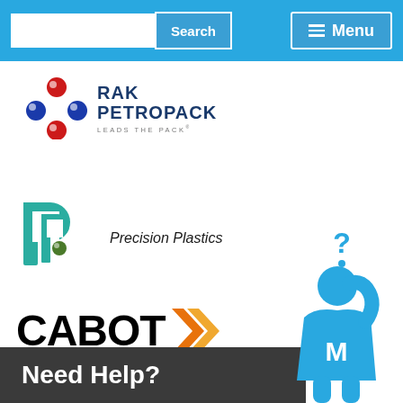[Figure (screenshot): Website navigation bar with search input box, Search button, and Menu button on blue background]
[Figure (logo): RAK Petropack logo - colorful ball arrangement with text RAK PETROPACK LEADS THE PACK]
[Figure (logo): Precision Plastics logo with teal P icon and italic text]
[Figure (logo): Cabot logo with bold black CABOT text and orange/gold chevron arrows]
[Figure (infographic): Need Help? banner with blue figure person holding head with question mark, letter M on chest]